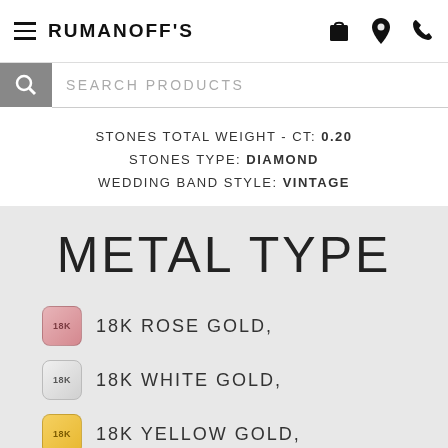RUMANOFF'S
SEARCH PRODUCTS
STONES TOTAL WEIGHT - CT: 0.20
STONES TYPE: DIAMOND
WEDDING BAND STYLE: VINTAGE
METAL TYPE
18K ROSE GOLD,
18K WHITE GOLD,
18K YELLOW GOLD,